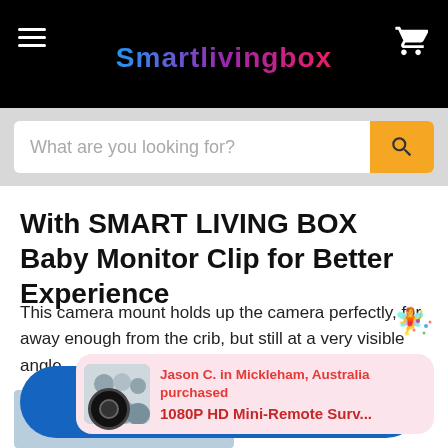Smartlivingbox
[Figure (screenshot): Search bar with placeholder text 'What are you looking for?' and orange search button]
With SMART LIVING BOX Baby Monitor Clip for Better Experience
This camera mount holds up the camera perfectly, far away enough from the crib, but still at a very visible angle.
[Figure (infographic): Popup banner showing Jason C. in Mickleham, Australia purchased 1080P HD Mini-Remote Surv... with a blue pill background and product image]
Jason C. in Mickleham, Australia purchased
1080P HD Mini-Remote Surv...